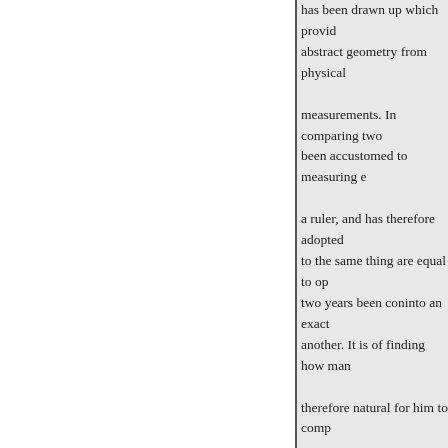has been drawn up which provid abstract geometry from physical measurements. In comparing two been accustomed to measuring e a ruler, and has therefore adopted to the same thing are equal to op two years been coninto an exact another. It is of finding how man therefore natural for him to comp either by the indirect method of p tractor, which he makes for hims finding whether both contain the same number of degrees, or by t to which he has hitherto been un one angle on the other. Hence he with those capable of of the othe thoroughly various rules are deri prothe areas of parallelograms, t various properties of these figure of mathematics. Much of this wo